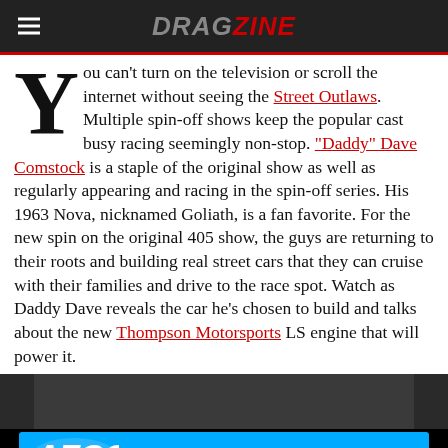DRAGZINE
You can't turn on the television or scroll the internet without seeing the Street Outlaws. Multiple spin-off shows keep the popular cast busy racing seemingly non-stop. “Daddy” Dave Comstock is a staple of the original show as well as regularly appearing and racing in the spin-off series. His 1963 Nova, nicknamed Goliath, is a fan favorite. For the new spin on the original 405 show, the guys are returning to their roots and building real street cars that they can cruise with their families and drive to the race spot. Watch as Daddy Dave reveals the car he’s chosen to build and talks about the new Thompson Motorsports LS engine that will power it.
[Figure (photo): Partial view of a dark interior/vehicle scene]
[Figure (logo): AFCO Racing advertisement banner with AFCO logo and AFCORACING.COM text]